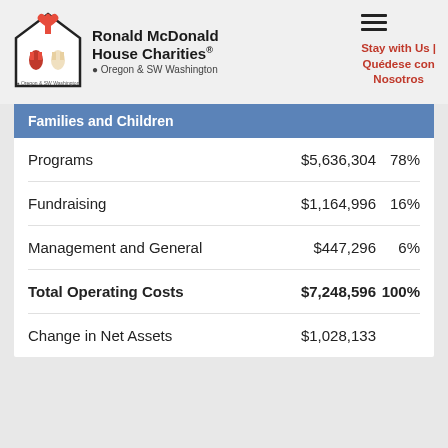[Figure (logo): Ronald McDonald House Charities Oregon & SW Washington logo with house and hands illustration]
Stay with Us | Quédese con Nosotros
Families and Children
|  |  |  |
| --- | --- | --- |
| Programs | $5,636,304 | 78% |
| Fundraising | $1,164,996 | 16% |
| Management and General | $447,296 | 6% |
| Total Operating Costs | $7,248,596 | 100% |
| Change in Net Assets | $1,028,133 |  |